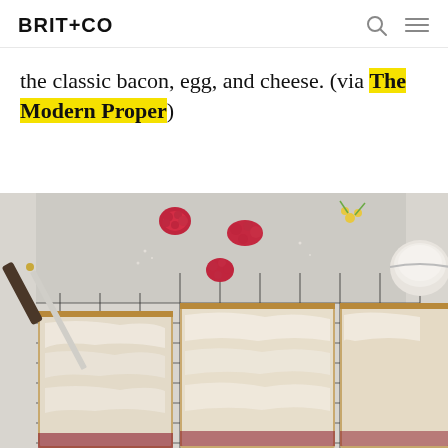BRIT+CO
the classic bacon, egg, and cheese. (via The Modern Proper)
[Figure (photo): Overhead photo of glazed raspberry pop tart slab bars on a wire cooling rack, with fresh raspberries, a small flower, a knife, and a bowl of icing nearby, on a light gray surface.]